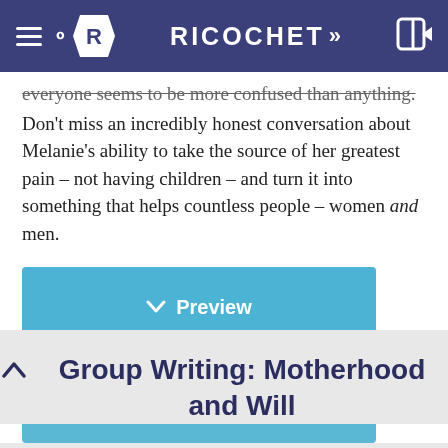RICOCHET
everyone seems to be more confused than anything. Don't miss an incredibly honest conversation about Melanie's ability to take the source of her greatest pain – not having children – and turn it into something that helps countless people – women and men.
[Figure (other): Preview button - blue rectangular button with chevron-down icon and text 'Preview']
[Figure (other): Open button - blue rectangular button with book icon and text 'Open']
Group Writing: Motherhood and Will